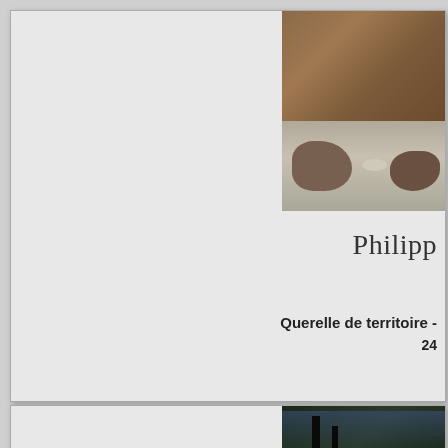[Figure (photo): Painting of birds or animals near rocky river with water and stones — upper right of first card]
Philipp
Querelle de territoire - 24
[Figure (photo): Dark forest/night scene painting — upper right of second card]